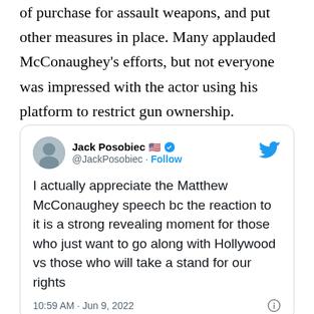of purchase for assault weapons, and put other measures in place. Many applauded McConaughey's efforts, but not everyone was impressed with the actor using his platform to restrict gun ownership.
[Figure (screenshot): Embedded tweet from Jack Posobiec (@JackPosobiec) with verified badge and US flag emoji. Tweet text: 'I actually appreciate the Matthew McConaughey speech bc the reaction to it is a strong revealing moment for those who just want to go along with Hollywood vs those who will take a stand for our rights'. Timestamp: 10:59 AM · Jun 9, 2022.]